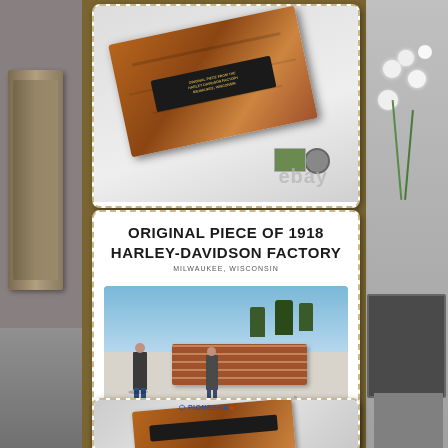[Figure (photo): eBay product listing showing multiple photos of an original brick from the 1918 Harley-Davidson Factory in Milwaukee, Wisconsin. Top photo shows a weathered red brick with a dark metal plaque. Middle card shows text 'ORIGINAL PIECE OF 1918 HARLEY-DAVIDSON FACTORY MILWAUKEE, WISCONSIN' with an outdoor photo of bricks stacked in snow. Bottom partial card shows another view of the brick with a logo.]